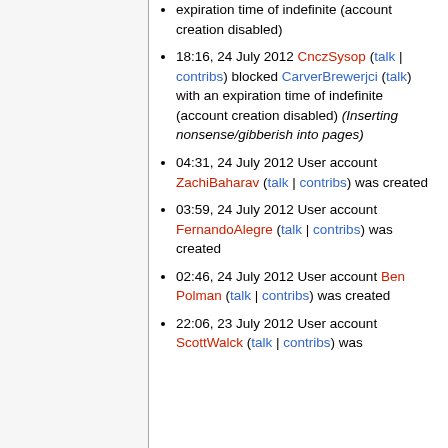expiration time of indefinite (account creation disabled)
18:16, 24 July 2012 CnczSysop (talk | contribs) blocked CarverBrewerjci (talk) with an expiration time of indefinite (account creation disabled) (Inserting nonsense/gibberish into pages)
04:31, 24 July 2012 User account ZachiBaharav (talk | contribs) was created
03:59, 24 July 2012 User account FernandoAlegre (talk | contribs) was created
02:46, 24 July 2012 User account Ben Polman (talk | contribs) was created
22:06, 23 July 2012 User account ScottWalck (talk | contribs) was created